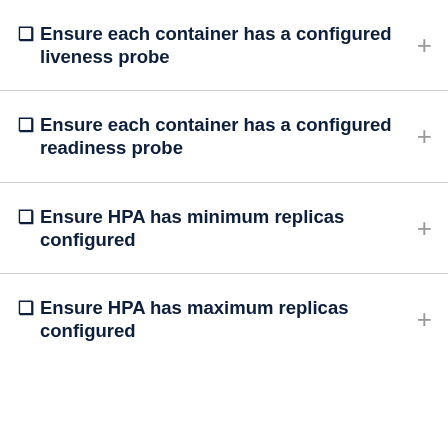❑ Ensure each container has a configured liveness probe
❑ Ensure each container has a configured readiness probe
❑ Ensure HPA has minimum replicas configured
❑ Ensure HPA has maximum replicas configured